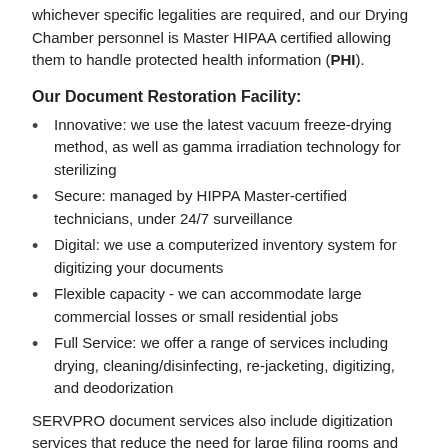whichever specific legalities are required, and our Drying Chamber personnel is Master HIPAA certified allowing them to handle protected health information (PHI).
Our Document Restoration Facility:
Innovative: we use the latest vacuum freeze-drying method, as well as gamma irradiation technology for sterilizing
Secure: managed by HIPPA Master-certified technicians, under 24/7 surveillance
Digital: we use a computerized inventory system for digitizing your documents
Flexible capacity - we can accommodate large commercial losses or small residential jobs
Full Service: we offer a range of services including drying, cleaning/disinfecting, re-jacketing, digitizing, and deodorization
SERVPRO document services also include digitization services that reduce the need for large filing rooms and help make data access more accessible for businesses. Certified destruction services allow for sensitive information to be appropriately disposed of and provide peace of mind to businesses and their clients.